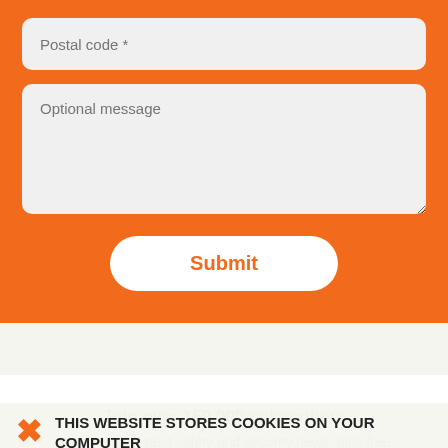Postal code *
Optional message
Submit
Join over 150,000 subscribers
Stay b... the latest safety and security news, plus free
THIS WEBSITE STORES COOKIES ON YOUR COMPUTER
These cookies allow us to remember you, customize your browsing experience, and analyze web traffic. To find out more about the cookies we use, see our Privacy Policy.